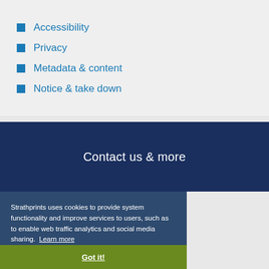Accessibility
Privacy
Metadata & content
Notice & take down
Contact us & more
Strathprints uses cookies to provide system functionality and improve services to users, such as to enable web traffic analytics and social media sharing. Learn more
Got it!